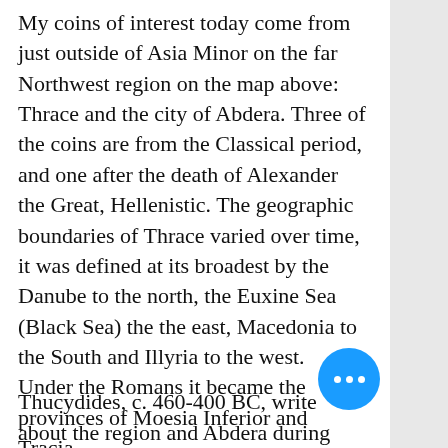My coins of interest today come from just outside of Asia Minor on the far Northwest region on the map above: Thrace and the city of Abdera. Three of the coins are from the Classical period, and one after the death of Alexander the Great, Hellenistic. The geographic boundaries of Thrace varied over time, it was defined at its broadest by the Danube to the north, the Euxine Sea (Black Sea) the the east, Macedonia to the South and Illyria to the west.  Under the Romans it became the provinces of Moesia Inferior and Tracia.
Thucydides, c. 460-400 BC, writes about the region and Abdera during